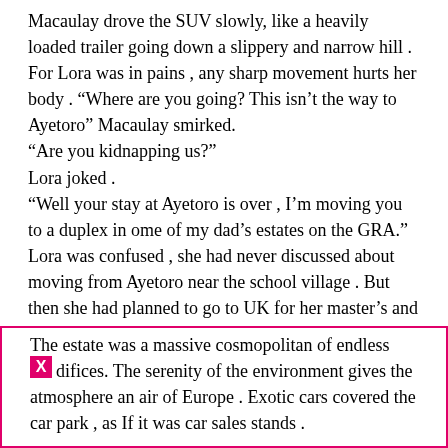Macaulay drove the SUV slowly, like a heavily loaded trailer going down a slippery and narrow hill . For Lora was in pains , any sharp movement hurts her body . “Where are you going? This isn’t the way to Ayetoro” Macaulay smirked. “Are you kidnapping us?” Lora joked . “Well your stay at Ayetoro is over , I’m moving you to a duplex in ome of my dad’s estates on the GRA.” Lora was confused , she had never discussed about moving from Ayetoro near the school village . But then she had planned to go to UK for her master’s and internship, but life had a different game awaiting her . The estate was a massive cosmopolitan of endless difices. The serenity of the environment gives the atmosphere an air of Europe . Exotic cars covered the car park , as If it was car sales stands .